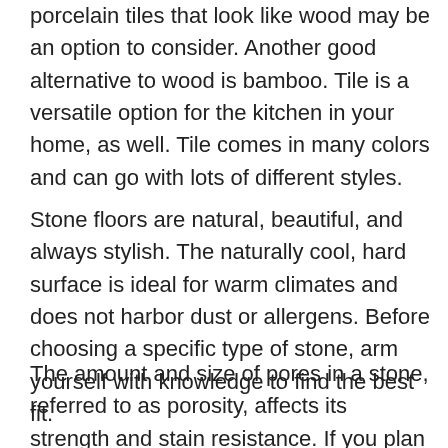porcelain tiles that look like wood may be an option to consider. Another good alternative to wood is bamboo. Tile is a versatile option for the kitchen in your home, as well. Tile comes in many colors and can go with lots of different styles.
Stone floors are natural, beautiful, and always stylish. The naturally cool, hard surface is ideal for warm climates and does not harbor dust or allergens. Before choosing a specific type of stone, arm yourself with knowledge to find the best fit.
The amount and size of pores in a stone, referred to as porosity, affects its strength and stain resistance. If you plan to install